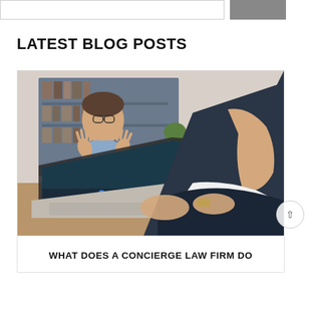LATEST BLOG POSTS
[Figure (photo): A person in a business suit typing on a laptop while on a video call with a man in a casual shirt who appears to be talking with hands raised, bookshelves visible in the background behind the person on screen; desk items including a pen holder visible in the background.]
WHAT DOES A CONCIERGE LAW FIRM DO